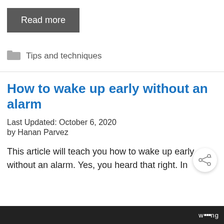Read more
Tips and techniques
How to wake up early without an alarm
Last Updated: October 6, 2020
by Hanan Parvez
This article will teach you how to wake up early without an alarm. Yes, you heard that right. In